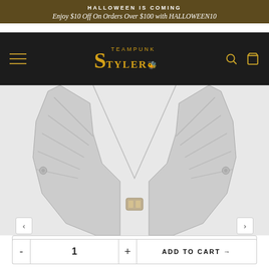HALLOWEEN IS COMING
Enjoy $10 Off On Orders Over $100 with HALLOWEEN10
[Figure (logo): Steampunk Styler logo with hamburger menu, search and cart icons on dark navigation bar]
[Figure (photo): Close-up photo of a steampunk-style leather vest/corset showing the V-neckline, ribbed texture panels, decorative buttons and metal clasp at center, in light grey/silver color]
S
- 1 + ADD TO CART →